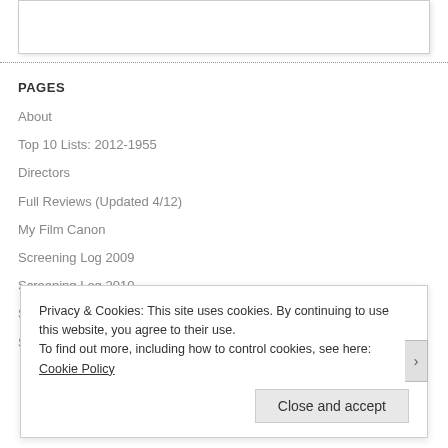PAGES
About
Top 10 Lists: 2012-1955
Directors
Full Reviews (Updated 4/12)
My Film Canon
Screening Log 2009
Screening Log 2010
Screening Log 2011
Screening Log 2012
Privacy & Cookies: This site uses cookies. By continuing to use this website, you agree to their use. To find out more, including how to control cookies, see here: Cookie Policy Close and accept